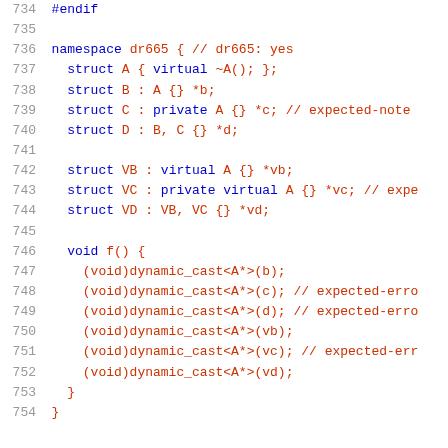[Figure (screenshot): C++ source code listing with line numbers 734-754, showing namespace dr665 with struct definitions and dynamic_cast calls, syntax-highlighted in blue and red on white background]